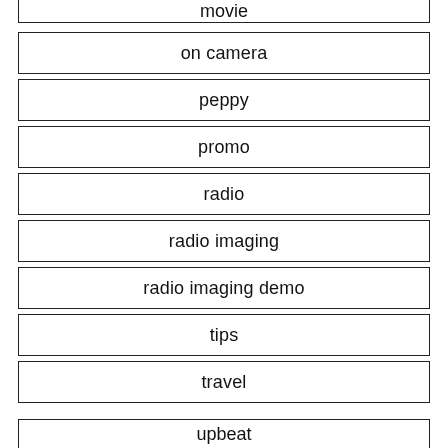movie
on camera
peppy
promo
radio
radio imaging
radio imaging demo
tips
travel
upbeat